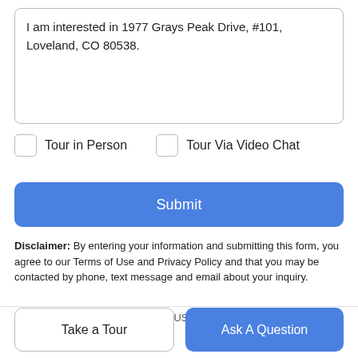I am interested in 1977 Grays Peak Drive, #101, Loveland, CO 80538.
Tour in Person
Tour Via Video Chat
Submit
Disclaimer: By entering your information and submitting this form, you agree to our Terms of Use and Privacy Policy and that you may be contacted by phone, text message and email about your inquiry.
Licensed in the State of Colorado, USA The content relating to real
Take a Tour
Ask A Question